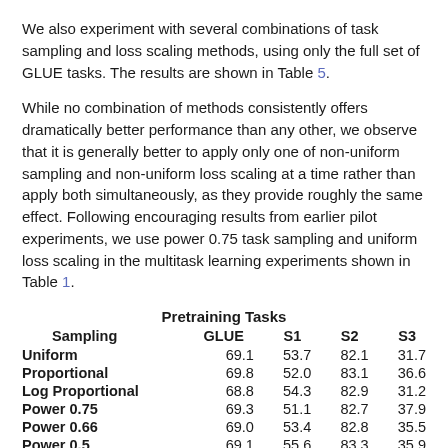We also experiment with several combinations of task sampling and loss scaling methods, using only the full set of GLUE tasks. The results are shown in Table 5.
While no combination of methods consistently offers dramatically better performance than any other, we observe that it is generally better to apply only one of non-uniform sampling and non-uniform loss scaling at a time rather than apply both simultaneously, as they provide roughly the same effect. Following encouraging results from earlier pilot experiments, we use power 0.75 task sampling and uniform loss scaling in the multitask learning experiments shown in Table 1.
| Sampling | GLUE | S1 | S2 | S3 |
| --- | --- | --- | --- | --- |
| Uniform | 69.1 | 53.7 | 82.1 | 31.7 |
| Proportional | 69.8 | 52.0 | 83.1 | 36.6 |
| Log Proportional | 68.8 | 54.3 | 82.9 | 31.2 |
| Power 0.75 | 69.3 | 51.1 | 82.7 | 37.9 |
| Power 0.66 | 69.0 | 53.4 | 82.8 | 35.5 |
| Power 0.5 | 69.1 | 55.6 | 83.3 | 35.9 |